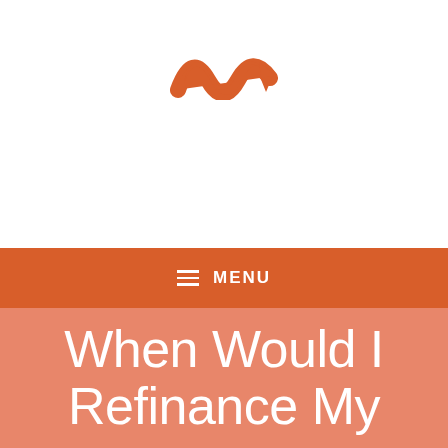[Figure (logo): Orange stylized wave/mountain logo mark centered at top of page]
≡ MENU
When Would I Refinance My